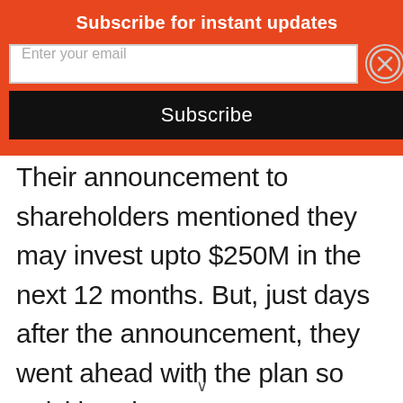Subscribe for instant updates
Enter your email
Subscribe
Their announcement to shareholders mentioned they may invest upto $250M in the next 12 months. But, just days after the announcement, they went ahead with the plan so quickly. MicroStrategy's strategic plan